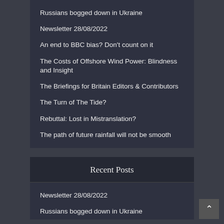Russians bogged down in Ukraine
Newsletter 28/08/2022
An end to BBC bias? Don't count on it
The Costs of Offshore Wind Power: Blindness and Insight
The Briefings for Britain Editors & Contributors
The Turn of The Tide?
Rebuttal: Lost in Mistranslation?
The path of future rainfall will not be smooth
Recent Posts
Newsletter 28/08/2022
Russians bogged down in Ukraine